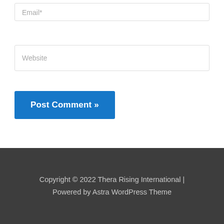Email*
Website
Post Comment »
Copyright © 2022 Thera Rising International | Powered by Astra WordPress Theme